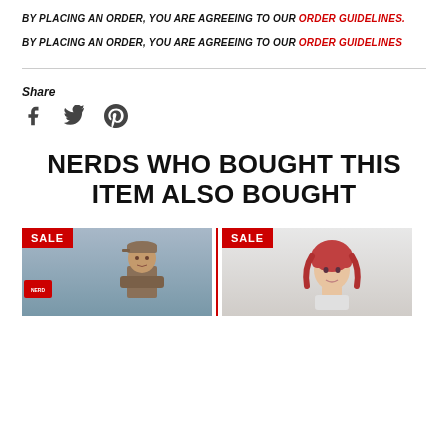BY PLACING AN ORDER, YOU ARE AGREEING TO OUR ORDER GUIDELINES.
BY PLACING AN ORDER, YOU ARE AGREEING TO OUR ORDER GUIDELINES
Share
[Figure (illustration): Social media share icons: Facebook (f), Twitter (bird), Pinterest (P)]
NERDS WHO BOUGHT THIS ITEM ALSO BOUGHT
[Figure (photo): Product image with SALE badge, showing a figure of a man with baseball cap]
[Figure (photo): Product image with SALE badge, showing an anime/figure with red/pink hair]